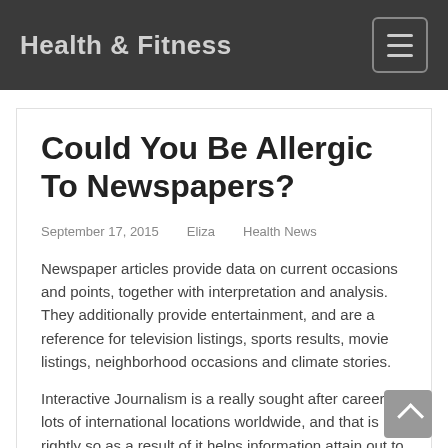Health & Fitness
Could You Be Allergic To Newspapers?
September 17, 2015   Eliza   Health News
Newspaper articles provide data on current occasions and points, together with interpretation and analysis. They additionally provide entertainment, and are a reference for television listings, sports results, movie listings, neighborhood occasions and climate stories.
Interactive Journalism is a really sought after career in lots of international locations worldwide, and that is rightly so as a result of it helps information attain out to